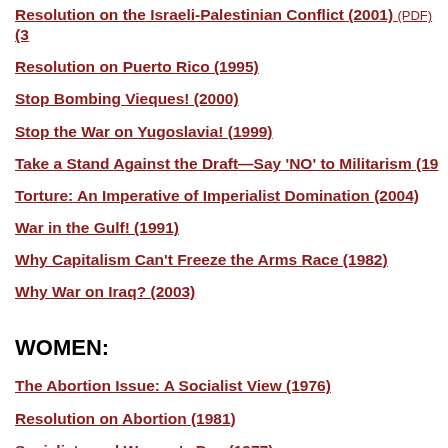Resolution on the Israeli-Palestinian Conflict (2001) (PDF) (3
Resolution on Puerto Rico (1995)
Stop Bombing Vieques! (2000)
Stop the War on Yugoslavia! (1999)
Take a Stand Against the Draft—Say 'NO' to Militarism (19
Torture: An Imperative of Imperialist Domination (2004)
War in the Gulf! (1991)
Why Capitalism Can't Freeze the Arms Race (1982)
Why War on Iraq? (2003)
WOMEN:
The Abortion Issue: A Socialist View (1976)
Resolution on Abortion (1981)
Socialists and Women's Day (1977)